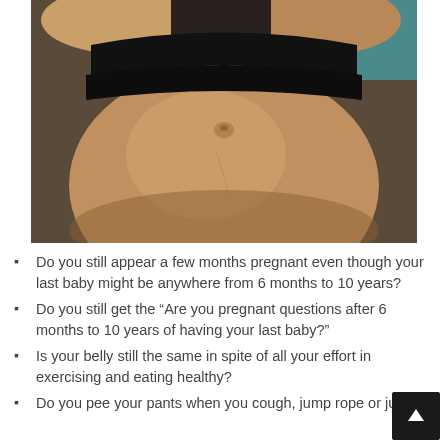[Figure (photo): Close-up photo of a pregnant-looking belly of a person lying down, wearing a black bandeau/tube top. Legs are visible at the top of the frame.]
Do you still appear a few months pregnant even though your last baby might be anywhere from 6 months to 10 years?
Do you still get the “Are you pregnant questions after 6 months to 10 years of having your last baby?”
Is your belly still the same in spite of all your effort in exercising and eating healthy?
Do you pee your pants when you cough, jump rope or jump